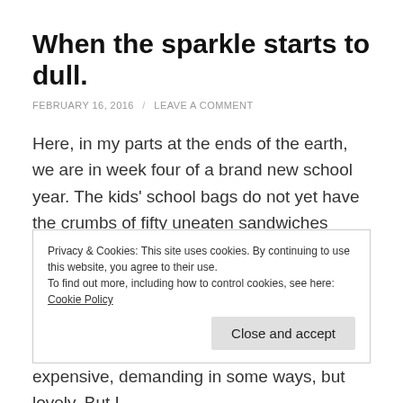When the sparkle starts to dull.
FEBRUARY 16, 2016 / LEAVE A COMMENT
Here, in my parts at the ends of the earth, we are in week four of a brand new school year. The kids' school bags do not yet have the crumbs of fifty uneaten sandwiches congregating in the bottom of them, their books are all smooth and flat, however poorly covered they may be (pretty sure there's a book covering anointing that I most definitely do not possess), and the teachers, oh the
Privacy & Cookies: This site uses cookies. By continuing to use this website, you agree to their use.
To find out more, including how to control cookies, see here: Cookie Policy
expensive, demanding in some ways, but lovely. But I